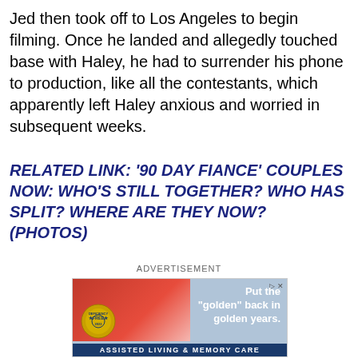Jed then took off to Los Angeles to begin filming. Once he landed and allegedly touched base with Haley, he had to surrender his phone to production, like all the contestants, which apparently left Haley anxious and worried in subsequent weeks.
RELATED LINK: '90 DAY FIANCE' COUPLES NOW: WHO'S STILL TOGETHER? WHO HAS SPLIT? WHERE ARE THEY NOW? (PHOTOS)
ADVERTISEMENT
[Figure (photo): Advertisement for assisted living and memory care facility showing an older woman in a red striped shirt with a badge reading 'Deficiency Free 2022'. Text reads: Put the "golden" back in golden years. ASSISTED LIVING & MEMORY CARE]